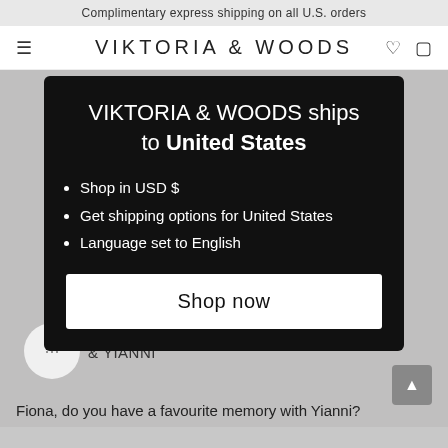Complimentary express shipping on all U.S. orders
VIKTORIA & WOODS
VIKTORIA & WOODS ships to United States
Shop in USD $
Get shipping options for United States
Language set to English
Shop now
& YIANNI
Fiona, do you have a favourite memory with Yianni?